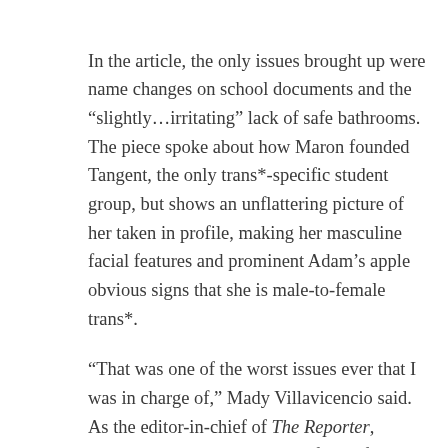In the article, the only issues brought up were name changes on school documents and the “slightly…irritating” lack of safe bathrooms. The piece spoke about how Maron founded Tangent, the only trans*-specific student group, but shows an unflattering picture of her taken in profile, making her masculine facial features and prominent Adam’s apple obvious signs that she is male-to-female trans*.
“That was one of the worst issues ever that I was in charge of,” Mady Villavicencio said. As the editor-in-chief of The Reporter, Villavicencio was responsible for all final content, including imagery, within the magazine. The public comments on the piece note how “Infinite Circles” is redundant, which the magazine received